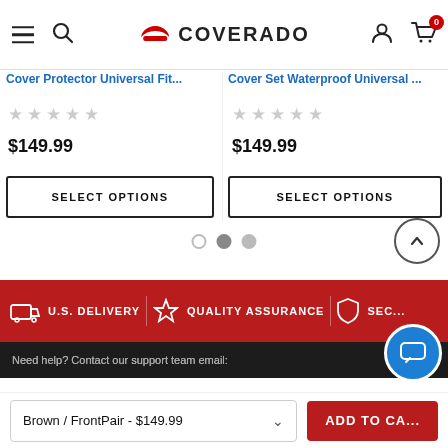Coverado - navigation bar with hamburger menu, search, logo, account, cart (0)
Cover Protector Universal Fit...
$149.99
SELECT OPTIONS
Cover Set Waterproof Universal ...
$149.99
SELECT OPTIONS
U.S. DELIVERY  QUALITY ASSURANCE  SEC...
Need help? Contact our support team email:
Brown / FrontPair - $149.99
ADD TO CART